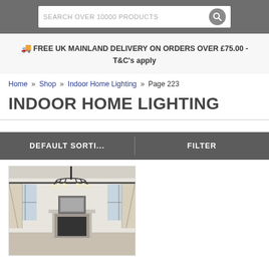SEARCH OVER 10000 PRODUCTS
🚚 FREE UK MAINLAND DELIVERY ON ORDERS OVER £75.00 - T&C's apply
Home » Shop » Indoor Home Lighting » Page 223
INDOOR HOME LIGHTING
DEFAULT SORTI...   FILTER
[Figure (photo): Room interior with chandelier, showing a living room with white walls, curtains, fireplace and a black metal chandelier hanging from ceiling]